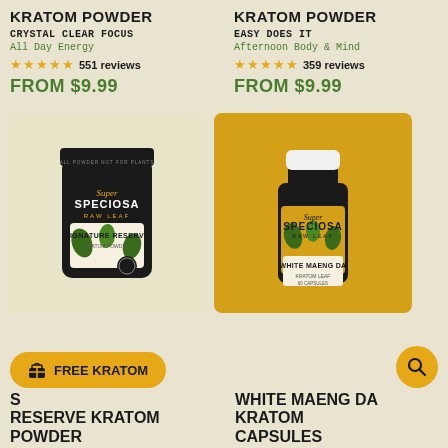KRATOM POWDER
CRYSTAL CLEAR FOCUS
All Day Energy
★★★★★ 551 reviews
FROM $9.99
KRATOM POWDER
EASY DOES IT
Afternoon Body & Mind
★★★★★ 359 reviews
FROM $9.99
[Figure (photo): Super Speciosa Raw Leaf Signature Reserve Kratom Powder bag on light background]
[Figure (photo): Super Speciosa Raw Leaf White Maeng Da capsule bottle on gold/mustard background]
SIGNATURE RESERVE KRATOM POWDER
WHITE MAENG DA KRATOM CAPSULES
🎁 FREE KRATOM
[Figure (other): Search icon button]